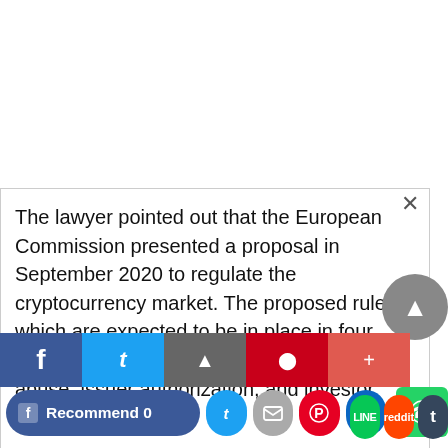The lawyer pointed out that the European Commission presented a proposal in September 2020 to regulate the cryptocurrency market. The proposed rules, which are expected to be in place in four years, cover various areas, including market abuse, issuer authorization, and investor protection.
“Until such regulations are in place, anyone considering trading in cryptocurrency should think carefully and
[Figure (other): Social media share buttons: Facebook Recommend 0, Twitter, Email, Pinterest, LinkedIn, WhatsApp, LINE, Reddit, Tumblr, and a scroll-to-top arrow button]